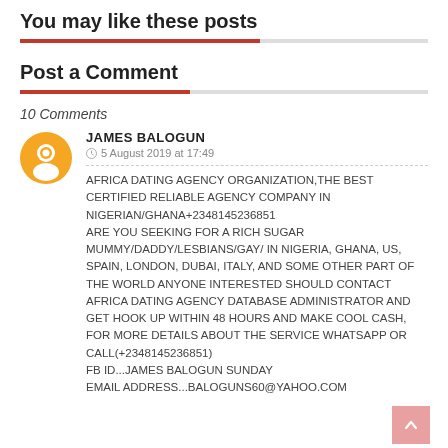You may like these posts
Post a Comment
10 Comments
JAMES BALOGUN
5 August 2019 at 17:49
AFRICA DATING AGENCY ORGANIZATION,THE BEST CERTIFIED RELIABLE AGENCY COMPANY IN NIGERIAN/GHANA+2348145236851 ARE YOU SEEKING FOR A RICH SUGAR MUMMY/DADDY/LESBIANS/GAY/ IN NIGERIA, GHANA, US, SPAIN, LONDON, DUBAI, ITALY, AND SOME OTHER PART OF THE WORLD ANYONE INTERESTED SHOULD CONTACT AFRICA DATING AGENCY DATABASE ADMINISTRATOR AND GET HOOK UP WITHIN 48 HOURS AND MAKE COOL CASH, FOR MORE DETAILS ABOUT THE SERVICE WHATSAPP OR CALL(+2348145236851) FB ID...JAMES BALOGUN SUNDAY EMAIL ADDRESS...BALOGUNS60@YAHOO.COM